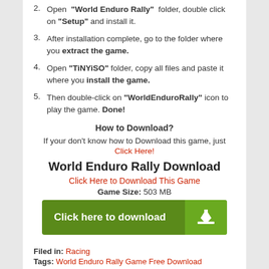2. Open "World Enduro Rally" folder, double click on "Setup" and install it.
3. After installation complete, go to the folder where you extract the game.
4. Open "TiNYiSO" folder, copy all files and paste it where you install the game.
5. Then double-click on "WorldEnduroRally" icon to play the game. Done!
How to Download?
If your don't know how to Download this game, just
Click Here!
World Enduro Rally Download
Click Here to Download This Game
Game Size: 503 MB
[Figure (other): Green download button with text 'Click here to download' and download icon]
Filed in: Racing
Tags: World Enduro Rally Game Free Download